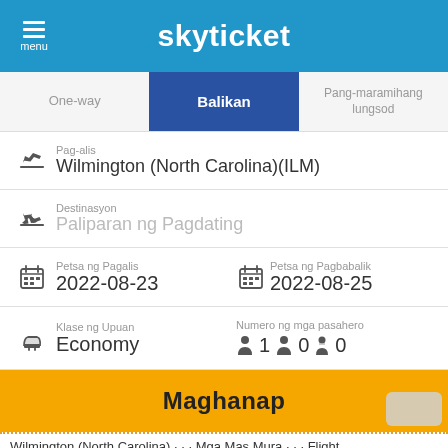skyticket
One-way | Balikan | Pang-maramihang lungsod
Pag-alis: Wilmington (North Carolina)(ILM)
Destinasyon: Paliparan ng Pagdating
Petsa ng Pagalis: 2022-08-23
Petsa ng Pagbabalik: 2022-08-25
Klase ng Upuan: Economy
Numero ng mga pasahero: 1 0 0
Maghanap
Wilmington (North Carolina) · · · Mga Mas Mura · · · Flight